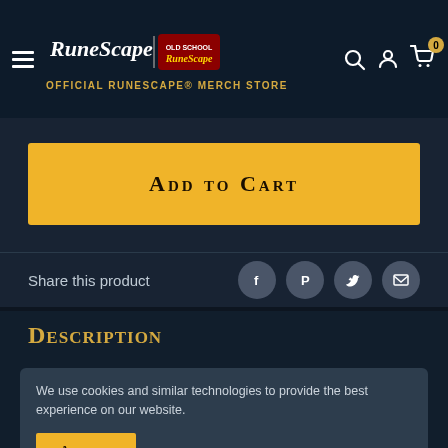RuneScape | Old School RuneScape — OFFICIAL RUNESCAPE® MERCH STORE
ADD TO CART
Share this product
Description
We use cookies and similar technologies to provide the best experience on our website.
ACCEPT